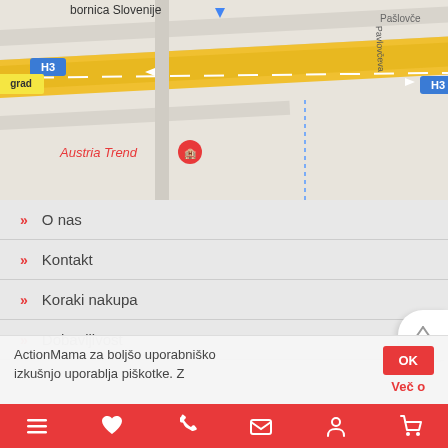[Figure (map): Google Maps screenshot showing H3 highway near Ljubljana-Bežigrad area with Austria Trend hotel marker and road labels]
» O nas
» Kontakt
» Koraki nakupa
» Dobavljivost
» Dostava
» Vračilo blaga
» Garancija
ActionMama za boljšo uporabniško izkušnjo uporablja piškotke. Z
Več o
Navigation bar with menu, heart, phone, mail, user, cart icons